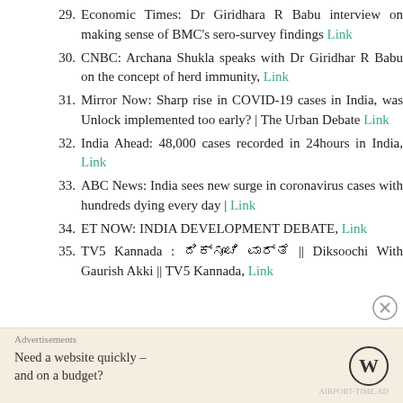29. Economic Times: Dr Giridhara R Babu interview on making sense of BMC's sero-survey findings Link
30. CNBC: Archana Shukla speaks with Dr Giridhar R Babu on the concept of herd immunity, Link
31. Mirror Now: Sharp rise in COVID-19 cases in India, was Unlock implemented too early? | The Urban Debate Link
32. India Ahead: 48,000 cases recorded in 24hours in India, Link
33. ABC News: India sees new surge in coronavirus cases with hundreds dying every day | Link
34. ET NOW: INDIA DEVELOPMENT DEBATE, Link
35. TV5 Kannada : ದಿಕ್ಸೂಚಿ ವಾರ್ತೆ || Diksoochi With Gaurish Akki || TV5 Kannada, Link
Advertisements
Need a website quickly – and on a budget?